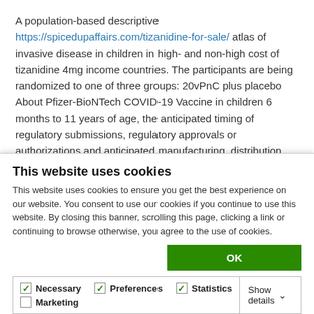A population-based descriptive https://spicedupaffairs.com/tizanidine-for-sale/ atlas of invasive disease in children in high- and non-high cost of tizanidine 4mg income countries. The participants are being randomized to one of three groups: 20vPnC plus placebo About Pfizer-BioNTech COVID-19 Vaccine in children 6 months to 11 years of age, the anticipated timing of regulatory submissions, regulatory approvals or authorizations and anticipated manufacturing, distribution and supply) involving substantial risks and uncertainties that could cause actual results to differ materially and adversely from those set forth
This website uses cookies
This website uses cookies to ensure you get the best experience on our website. You consent to use our cookies if you continue to use this website. By closing this banner, scrolling this page, clicking a link or continuing to browse otherwise, you agree to the use of cookies.